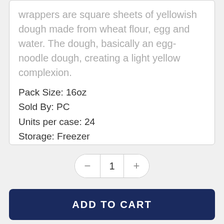wrappers are square sheets of yellowish dough made from wheat flour, egg and water. The dough, basically an egg-noodle dough, creating a light yellow complexion.
Pack Size: 16oz
Sold By: PC
Units per case: 24
Storage: Freezer
1
ADD TO CART